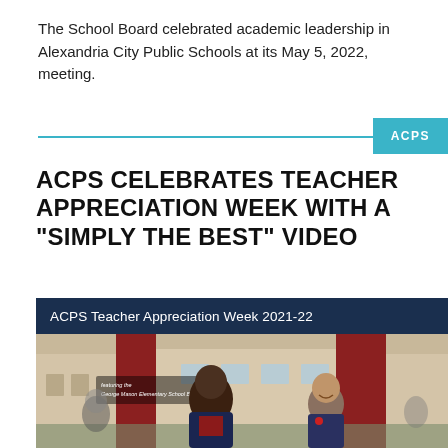The School Board celebrated academic leadership in Alexandria City Public Schools at its May 5, 2022, meeting.
[Figure (logo): Cyan horizontal divider line with ACPS badge/label on the right side]
ACPS CELEBRATES TEACHER APPRECIATION WEEK WITH A “SIMPLY THE BEST” VIDEO
[Figure (photo): Photo with dark navy header bar reading 'ACPS Teacher Appreciation Week 2021-22' with subtitle 'featuring the George Mason Elementary School Band'. Below is a photo of an adult male and a smiling young boy outdoors in front of a school building.]